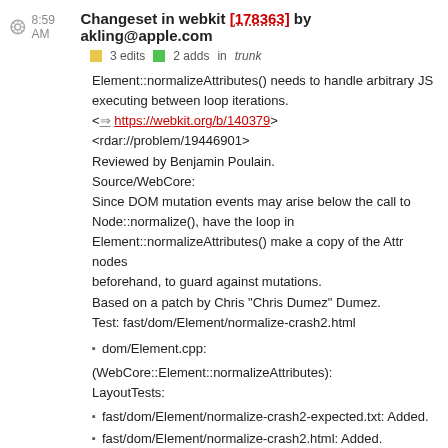8:59 AM Changeset in webkit [178363] by akling@apple.com
3 edits  2 adds  in trunk
Element::normalizeAttributes() needs to handle arbitrary JS executing between loop iterations.
<⇒ https://webkit.org/b/140379>
<rdar://problem/19446901>
Reviewed by Benjamin Poulain.
Source/WebCore:
Since DOM mutation events may arise below the call to Node::normalize(), have the loop in Element::normalizeAttributes() make a copy of the Attr nodes
beforehand, to guard against mutations.
Based on a patch by Chris "Chris Dumez" Dumez.
Test: fast/dom/Element/normalize-crash2.html
dom/Element.cpp:
(WebCore::Element::normalizeAttributes):
LayoutTests:
fast/dom/Element/normalize-crash2-expected.txt: Added.
fast/dom/Element/normalize-crash2.html: Added.
5:14 AM Changeset in webkit [178362] by commit-queue@webkit.org
4 edits  in trunk/LayoutTests
AX: [ATK] Mark accessibility/table-with-footer-section-above-body.html as a